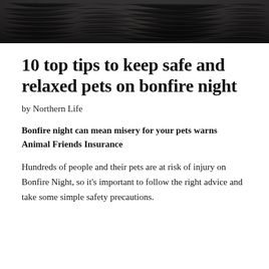[Figure (photo): Black and white close-up photograph of animal fur, likely a pet, serving as a decorative header image.]
10 top tips to keep safe and relaxed pets on bonfire night
by Northern Life
Bonfire night can mean misery for your pets warns Animal Friends Insurance
Hundreds of people and their pets are at risk of injury on Bonfire Night, so it's important to follow the right advice and take some simple safety precautions.